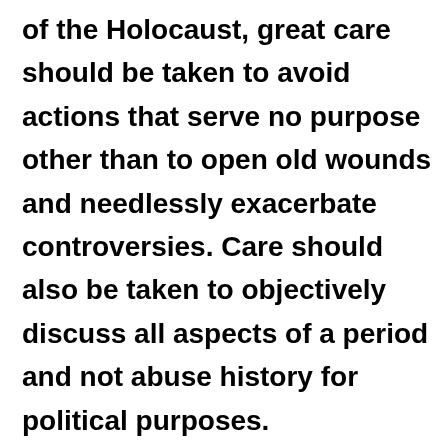of the Holocaust, great care should be taken to avoid actions that serve no purpose other than to open old wounds and needlessly exacerbate controversies. Care should also be taken to objectively discuss all aspects of a period and not abuse history for political purposes. Considering these general principles, the Federation believes: